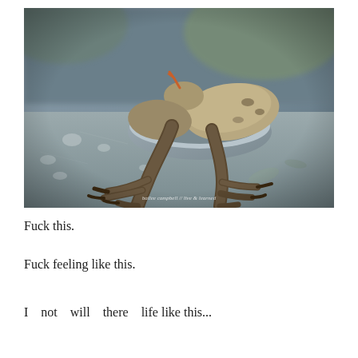[Figure (photo): A photograph of dead birds (poultry/game birds) in a metal bowl on a concrete or stone surface. The bird legs/feet hang over the edge of the bowl prominently in the foreground. The image has a dark, moody tone. A watermark reads 'bailee campbell // live & learned' in white cursive text at the bottom center.]
Fuck this.
Fuck feeling like this.
I...not...will...there...life like this...